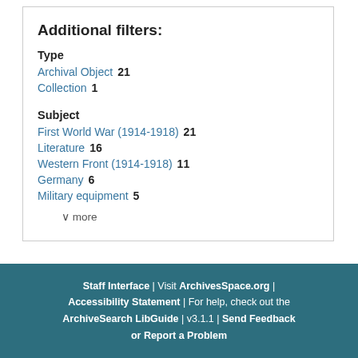Additional filters:
Type
Archival Object  21
Collection  1
Subject
First World War (1914-1918)  21
Literature  16
Western Front (1914-1918)  11
Germany  6
Military equipment  5
v more
Staff Interface | Visit ArchivesSpace.org | Accessibility Statement | For help, check out the ArchiveSearch LibGuide | v3.1.1 | Send Feedback or Report a Problem